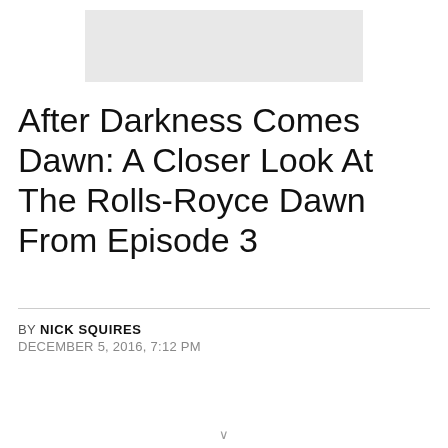[Figure (photo): Gray placeholder image rectangle at top center of page]
After Darkness Comes Dawn: A Closer Look At The Rolls-Royce Dawn From Episode 3
BY NICK SQUIRES
DECEMBER 5, 2016, 7:12 PM